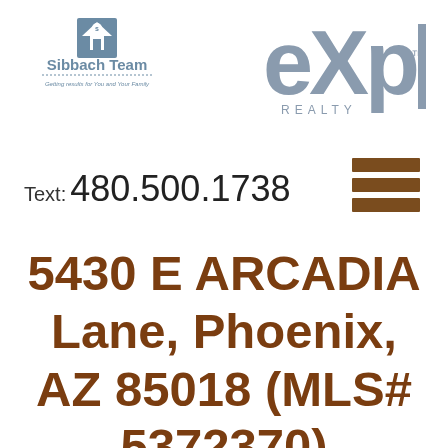[Figure (logo): Sibbach Team logo with house icon and tagline 'Getting results for You and Your Family']
[Figure (logo): eXp Realty logo in gray]
Text: 480.500.1738
[Figure (illustration): Three horizontal brown bars (hamburger menu icon)]
5430 E ARCADIA Lane, Phoenix, AZ 85018 (MLS# 5372370)